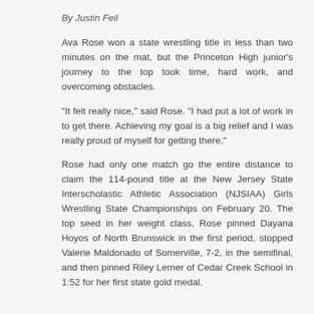By Justin Feil
Ava Rose won a state wrestling title in less than two minutes on the mat, but the Princeton High junior's journey to the top took time, hard work, and overcoming obstacles.
“It felt really nice,” said Rose. “I had put a lot of work in to get there. Achieving my goal is a big relief and I was really proud of myself for getting there.”
Rose had only one match go the entire distance to claim the 114-pound title at the New Jersey State Interscholastic Athletic Association (NJSIAA) Girls Wrestling State Championships on February 20. The top seed in her weight class, Rose pinned Dayana Hoyos of North Brunswick in the first period, stopped Valerie Maldonado of Somerville, 7-2, in the semifinal, and then pinned Riley Lerner of Cedar Creek School in 1:52 for her first state gold medal.